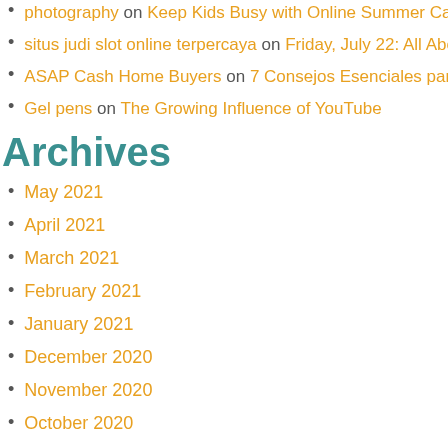photography on Keep Kids Busy with Online Summer Camps
situs judi slot online terpercaya on Friday, July 22: All About the C
ASAP Cash Home Buyers on 7 Consejos Esenciales para los Nue
Gel pens on The Growing Influence of YouTube
Archives
May 2021
April 2021
March 2021
February 2021
January 2021
December 2020
November 2020
October 2020